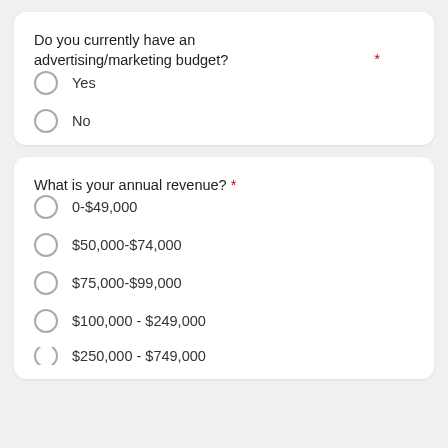Do you currently have an advertising/marketing budget? *
Yes
No
What is your annual revenue? *
0-$49,000
$50,000-$74,000
$75,000-$99,000
$100,000 - $249,000
$250,000 - $749,000